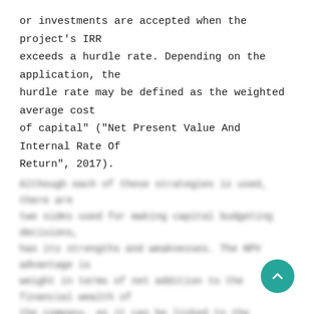or investments are accepted when the project's IRR exceeds a hurdle rate. Depending on the application, the hurdle rate may be defined as the weighted average cost of capital" ("Net Present Value And Internal Rate Of Return", 2017).
Although each of these strategies is used, there are two sides used for making capital budgeting decisions, has its strengths and weaknesses. The NPV advantage is weight in terms of net addition to the financial wealth of the company, as it can be linked to the initial financing capital "Net Present Value And Internal Rate Of Return", 2017). It depends on estimated discount rate and other variables that the managers use within some rules. The life of the project, and that cash inflows can be calculated at the same discount rate. In the applicable financial environment, all things been considered is